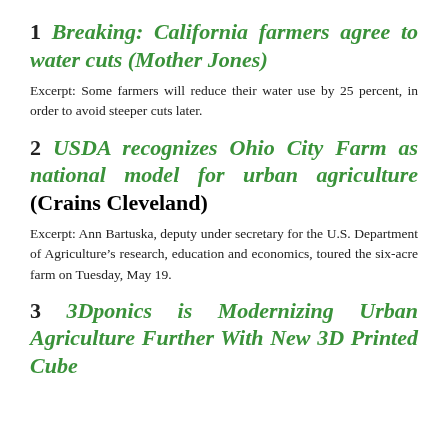1 Breaking: California farmers agree to water cuts (Mother Jones)
Excerpt: Some farmers will reduce their water use by 25 percent, in order to avoid steeper cuts later.
2 USDA recognizes Ohio City Farm as national model for urban agriculture (Crains Cleveland)
Excerpt: Ann Bartuska, deputy under secretary for the U.S. Department of Agriculture’s research, education and economics, toured the six-acre farm on Tuesday, May 19.
3 3Dponics is Modernizing Urban Agriculture Further With New 3D Printed Cube